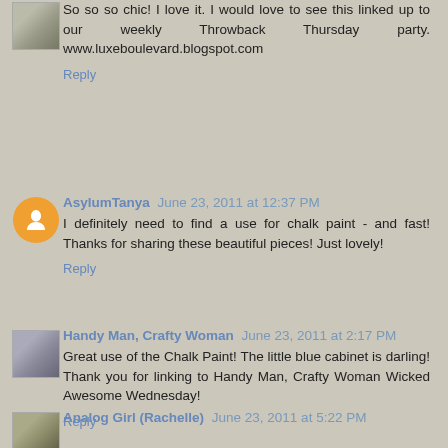So so so chic! I love it. I would love to see this linked up to our weekly Throwback Thursday party. www.luxeboulevard.blogspot.com
Reply
AsylumTanya June 23, 2011 at 12:37 PM
I definitely need to find a use for chalk paint - and fast! Thanks for sharing these beautiful pieces! Just lovely!
Reply
Handy Man, Crafty Woman June 23, 2011 at 2:17 PM
Great use of the Chalk Paint! The little blue cabinet is darling! Thank you for linking to Handy Man, Crafty Woman Wicked Awesome Wednesday!
Reply
Analog Girl (Rachelle) June 23, 2011 at 5:22 PM